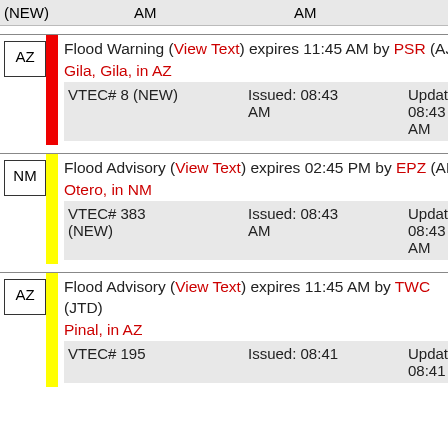| State | Alert | Issued | Updated |
| --- | --- | --- | --- |
|  | (NEW) | AM | AM |
| AZ | Flood Warning (View Text) expires 11:45 AM by PSR (AJ) Gila, Gila, in AZ VTEC# 8 (NEW) | Issued: 08:43 AM | Updated: 08:43 AM |
| NM | Flood Advisory (View Text) expires 02:45 PM by EPZ (AB) Otero, in NM VTEC# 383 (NEW) | Issued: 08:43 AM | Updated: 08:43 AM |
| AZ | Flood Advisory (View Text) expires 11:45 AM by TWC (JTD) Pinal, in AZ VTEC# 195 | Issued: 08:41 | Updated: 08:41 |